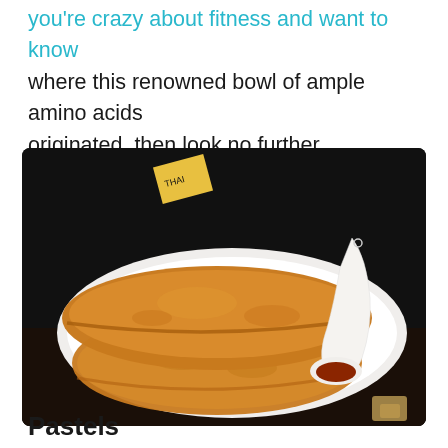you're crazy about fitness and want to know where this renowned bowl of ample amino acids originated, then look no further.
[Figure (photo): Two golden-brown fried pastels (dumplings) on a white oval plate with a white ceramic spoon holding a reddish-brown dipping sauce, set on a dark background.]
Pastels